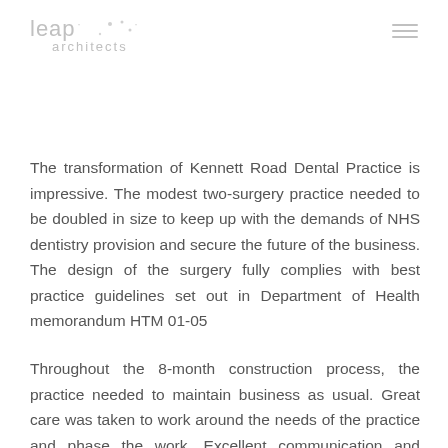leap architects
The transformation of Kennett Road Dental Practice is impressive. The modest two-surgery practice needed to be doubled in size to keep up with the demands of NHS dentistry provision and secure the future of the business. The design of the surgery fully complies with best practice guidelines set out in Department of Health memorandum HTM 01-05
Throughout the 8-month construction process, the practice needed to maintain business as usual. Great care was taken to work around the needs of the practice and phase the work. Excellent communication and collaboration between the client, design team and contractor ensured a smooth running project and ensured the needs of the practice were put first.